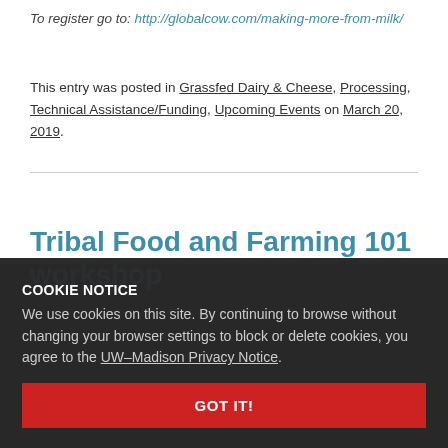To register go to: http://globalcow.com/making-more-from-milk/
This entry was posted in Grassfed Dairy & Cheese, Processing, Technical Assistance/Funding, Upcoming Events on March 20, 2019.
Tribal Food and Farming 101 workshop
COOKIE NOTICE
We use cookies on this site. By continuing to browse without changing your browser settings to block or delete cookies, you agree to the UW–Madison Privacy Notice.
GOT IT!